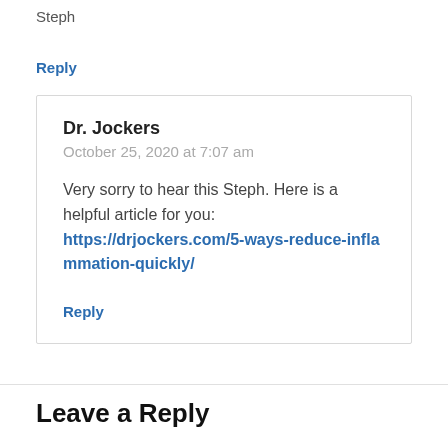Steph
Reply
Dr. Jockers
October 25, 2020 at 7:07 am
Very sorry to hear this Steph. Here is a helpful article for you: https://drjockers.com/5-ways-reduce-inflammation-quickly/
Reply
Leave a Reply